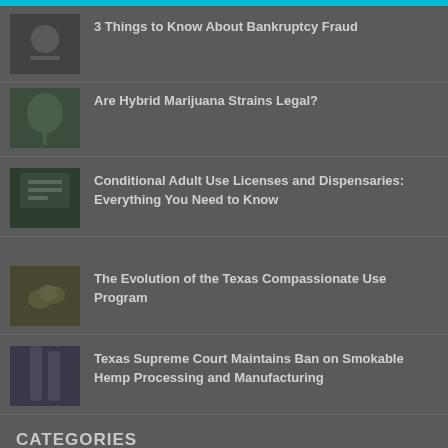3 Things to Know About Bankruptcy Fraud
Are Hybrid Marijuana Strains Legal?
Conditional Adult Use Licenses and Dispensaries: Everything You Need to Know
The Evolution of the Texas Compassionate Use Program
Texas Supreme Court Maintains Ban on Smokable Hemp Processing and Manufacturing
CATEGORIES
Arbitration
Bankruptcy Law
Business Law